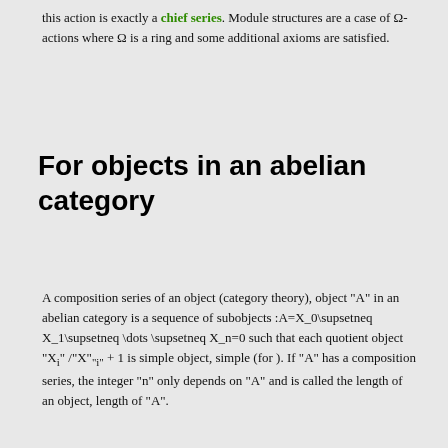this action is exactly a chief series. Module structures are a case of Ω-actions where Ω is a ring and some additional axioms are satisfied.
For objects in an abelian category
A composition series of an object (category theory), object "A" in an abelian category is a sequence of subobjects :A=X_0\supsetneq X_1\supsetneq \dots \supsetneq X_n=0 such that each quotient object "X_i" /"X"_"i" + 1 is simple object, simple (for ). If "A" has a composition series, the integer "n" only depends on "A" and is called the length of an object, length of "A".